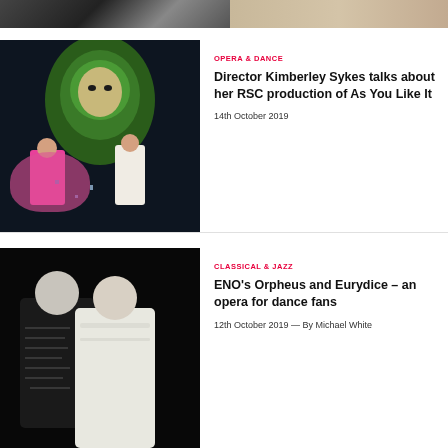[Figure (photo): Partial top strip showing a cropped image with dark and tan/sandy tones]
[Figure (photo): Theatre stage scene with performers in colorful dresses (pink, white) and a large green face/mask backdrop for RSC production]
OPERA & DANCE
Director Kimberley Sykes talks about her RSC production of As You Like It
14th October 2019
[Figure (photo): Two women standing close together, one in black patterned jacket and one in white lace dress, against dark background]
CLASSICAL & JAZZ
ENO's Orpheus and Eurydice – an opera for dance fans
12th October 2019 — By Michael White